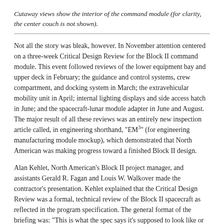Cutaway views show the interior of the command module (for clarity, the center couch is not shown).
Not all the story was bleak, however. In November attention centered on a three-week Critical Design Review for the Block II command module. This event followed reviews of the lower equipment bay and upper deck in February; the guidance and control systems, crew compartment, and docking system in March; the extravehicular mobility unit in April; internal lighting displays and side access hatch in June; and the spacecraft-lunar module adapter in June and August. The major result of all these reviews was an entirely new inspection article called, in engineering shorthand, "EM3" (for engineering manufacturing module mockup), which demonstrated that North American was making progress toward a finished Block II design.
Alan Kehlet, North American's Block II project manager, and assistants Gerald R. Fagan and Louis W. Walkover made the contractor's presentation. Kehlet explained that the Critical Design Review was a formal, technical review of the Block II spacecraft as reflected in the program specification. The general format of the briefing was: "This is what the spec says it's supposed to look like or supposed to do from a functional standpoint, and this is what the...